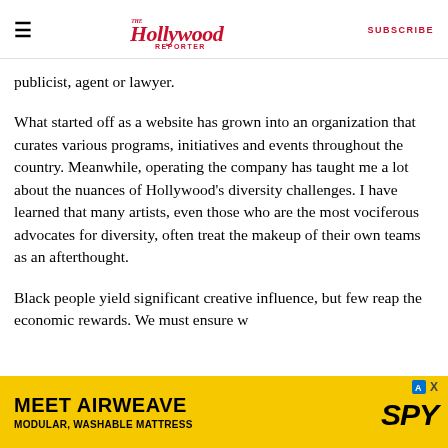The Hollywood Reporter | SUBSCRIBE
publicist, agent or lawyer.
What started off as a website has grown into an organization that curates various programs, initiatives and events throughout the country. Meanwhile, operating the company has taught me a lot about the nuances of Hollywood’s diversity challenges. I have learned that many artists, even those who are the most vociferous advocates for diversity, often treat the makeup of their own teams as an afterthought.
Black people yield significant creative influence, but few reap the economic rewards. We must ensure w
[Figure (other): Advertisement banner: MEET AIRWEAVE MODULAR, WASHABLE MATTRESS with SPY logo on yellow background]